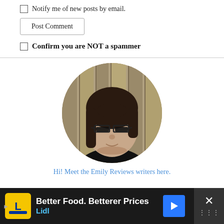Notify me of new posts by email.
Post Comment
Confirm you are NOT a spammer
[Figure (photo): Circular profile photo of a woman with long dark hair and glasses, standing in front of a wooden fence]
Hi! Meet the Emily Reviews writers here.
[Figure (infographic): Advertisement banner: Better Food. Betterer Prices – Lidl, with yellow Lidl logo, blue arrow icon, and close/X button]